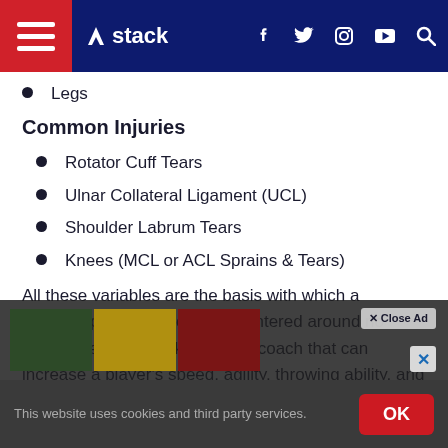stack
Legs
Common Injuries
Rotator Cuff Tears
Ulnar Collateral Ligament (UCL)
Shoulder Labrum Tears
Knees (MCL or ACL Sprains & Tears)
All these variables are the basis with which a baseball program should be centered around no matter the player's skill level. A coach that can increase a player's speed, agility, throwing ability, and rotational power will give provid...on the
This website uses cookies and third party services.